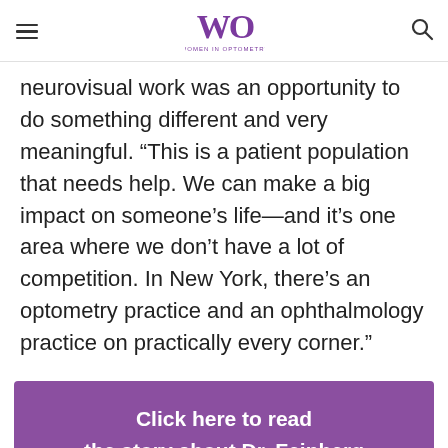Women in Optometry
neurovisual work was an opportunity to do something different and very meaningful. “This is a patient population that needs help. We can make a big impact on someone’s life—and it’s one area where we don’t have a lot of competition. In New York, there’s an optometry practice and an ophthalmology practice on practically every corner.”
Click here to read the story about Dr. Feinberg that inspired Dr. Berger Israeloff to pursue her work in